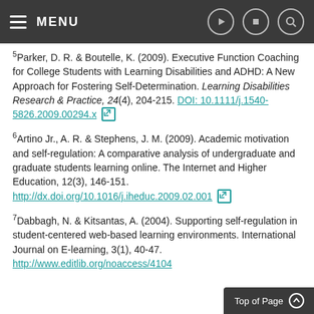MENU
5Parker, D. R. & Boutelle, K. (2009). Executive Function Coaching for College Students with Learning Disabilities and ADHD: A New Approach for Fostering Self-Determination. Learning Disabilities Research & Practice, 24(4), 204-215. DOI: 10.1111/j.1540-5826.2009.00294.x
6Artino Jr., A. R. & Stephens, J. M. (2009). Academic motivation and self-regulation: A comparative analysis of undergraduate and graduate students learning online. The Internet and Higher Education, 12(3), 146-151. http://dx.doi.org/10.1016/j.iheduc.2009.02.001
7Dabbagh, N. & Kitsantas, A. (2004). Supporting self-regulation in student-centered web-based learning environments. International Journal on E-learning, 3(1), 40-47. http://www.editlib.org/noaccess/4104